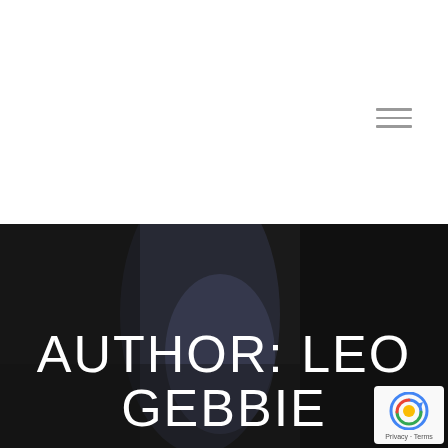[Figure (other): White navigation bar area with hamburger menu icon (three horizontal lines) in the upper right area]
[Figure (photo): Dark moody background photo showing blurred objects on a dark background, with large white text overlay reading AUTHOR: LEO GEBBIE, and a reCAPTCHA badge in the bottom right corner]
AUTHOR: LEO GEBBIE